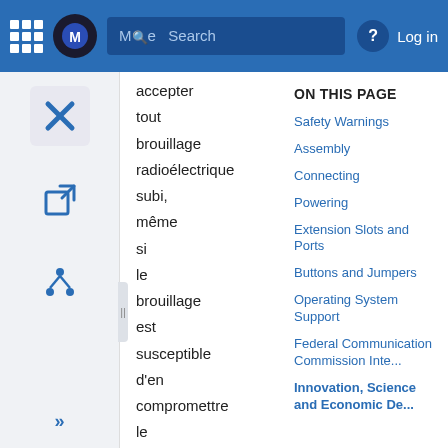More  Search  Log in
accepter tout brouillage radioélectrique subi, même si le brouillage est susceptible d'en compromettre le fonctionnement. This Class A digital apparatus
ON THIS PAGE
Safety Warnings
Assembly
Connecting
Powering
Extension Slots and Ports
Buttons and Jumpers
Operating System Support
Federal Communication Commission Inte...
Innovation, Science and Economic De...